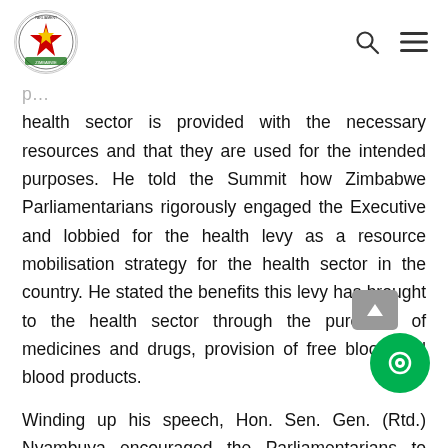Parliament of Zimbabwe header with logo, search icon, and menu icon
health sector is provided with the necessary resources and that they are used for the intended purposes. He told the Summit how Zimbabwe Parliamentarians rigorously engaged the Executive and lobbied for the health levy as a resource mobilisation strategy for the health sector in the country. He stated the benefits this levy has brought to the health sector through the purchase of medicines and drugs, provision of free blood and blood products.
Winding up his speech, Hon. Sen. Gen. (Rtd.) Nyambuya encouraged the Parliamentarians to start dialogues on other health related issues that are rarely talked about because of religious, traditional or cultural reasons. These issues, include safe abortion among others. He